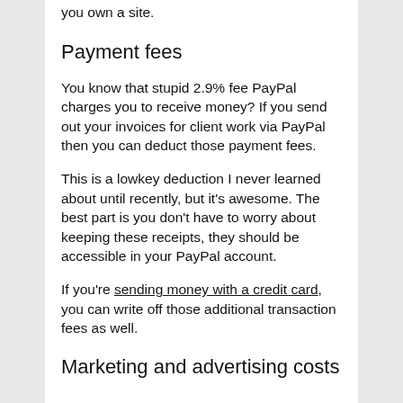you own a site.
Payment fees
You know that stupid 2.9% fee PayPal charges you to receive money? If you send out your invoices for client work via PayPal then you can deduct those payment fees.
This is a lowkey deduction I never learned about until recently, but it’s awesome. The best part is you don’t have to worry about keeping these receipts, they should be accessible in your PayPal account.
If you’re sending money with a credit card, you can write off those additional transaction fees as well.
Marketing and advertising costs